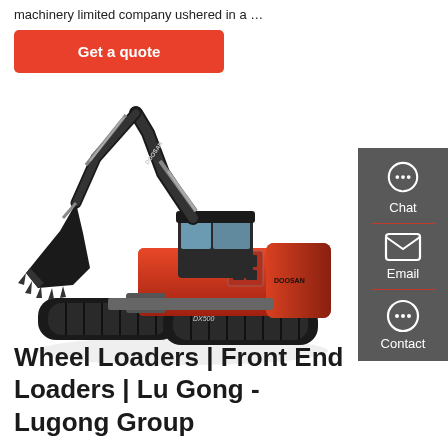machinery limited company ushered in a …
Get a quote
[Figure (photo): Orange Doosan tracked excavator (DX500) with raised boom and bucket, viewed from front-left angle on white background.]
Chat
Email
Contact
Wheel Loaders | Front End Loaders | Lu Gong - Lugong Group